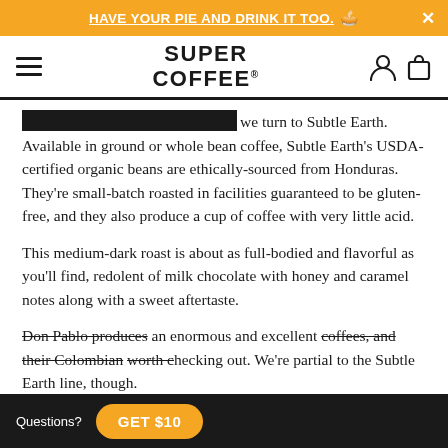HAVE YOUR PIE AND DRINK IT TOO.
[Figure (logo): Super Coffee brand logo with hamburger menu, user and cart icons]
medium-dark roast, and that's why we turn to Subtle Earth. Available in ground or whole bean coffee, Subtle Earth's USDA-certified organic beans are ethically-sourced from Honduras. They're small-batch roasted in facilities guaranteed to be gluten-free, and they also produce a cup of coffee with very little acid.
This medium-dark roast is about as full-bodied and flavorful as you'll find, redolent of milk chocolate with honey and caramel notes along with a sweet aftertaste.
Don Pablo produces an enormous and excellent coffees, and their Colombian worth checking out. We're partial to the Subtle Earth line, though.